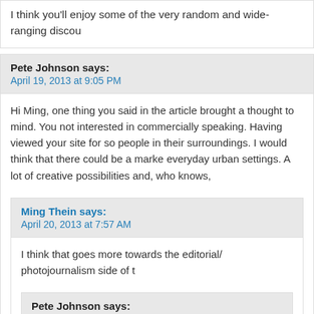I think you'll enjoy some of the very random and wide-ranging discou
Pete Johnson says:
April 19, 2013 at 9:05 PM
Hi Ming, one thing you said in the article brought a thought to mind. You not interested in commercially speaking. Having viewed your site for so people in their surroundings. I would think that there could be a marke everyday urban settings. A lot of creative possibilities and, who knows,
Ming Thein says:
April 20, 2013 at 7:57 AM
I think that goes more towards the editorial/ photojournalism side of t
Pete Johnson says:
April 20, 2013 at 8:49 AM